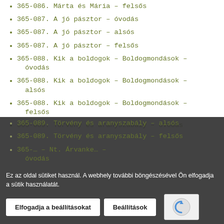365-086. Márta és Mária – felsős
365-087. A jó pásztor – óvodás
365-087. A jó pásztor – alsós
365-087. A jó pásztor – felsős
365-088. Kik a boldogok – Boldogmondások – óvodás
365-088. Kik a boldogok – Boldogmondások – alsós
365-088. Kik a boldogok – Boldogmondások – felsős
365-089. Törvény és aranyszabály – óvodás
365-089. Törvény és aranyszabály – alsós
365-089. Törvény és aranyszabály – felsős
365-… – Nt. Árvanke… – óvodás
Ez az oldal sütiket használ. A webhely további böngészésével Ön elfogadja a sütik használatát.